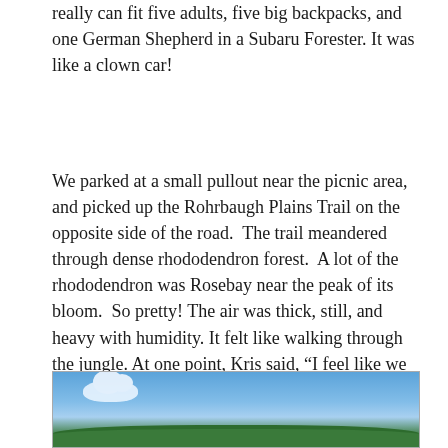really can fit five adults, five big backpacks, and one German Shepherd in a Subaru Forester. It was like a clown car!
We parked at a small pullout near the picnic area, and picked up the Rohrbaugh Plains Trail on the opposite side of the road.  The trail meandered through dense rhododendron forest.  A lot of the rhododendron was Rosebay near the peak of its bloom.  So pretty! The air was thick, still, and heavy with humidity. It felt like walking through the jungle. At one point, Kris said, “I feel like we might see monkeys!’
[Figure (photo): Outdoor photo showing blue sky with white clouds and green tree tops at the bottom edge]